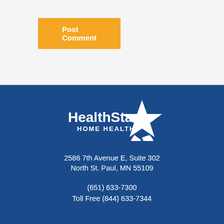Post Comment
[Figure (logo): HealthStar Home Health logo with white star graphic on dark blue background]
2586 7th Avenue E, Suite 302
North St. Paul, MN 55109
(651) 633-7300
Toll Free (844) 633-7344